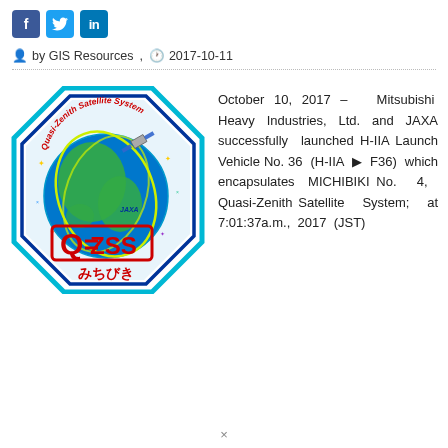[Figure (logo): Social media share buttons: Facebook (f), Twitter (bird), LinkedIn (in)]
by GIS Resources , 2017-10-11
[Figure (logo): Quasi-Zenith Satellite System (QZSS) mission patch / logo showing an octagonal badge with Earth, satellite, QZSS text in red cursive, JAXA logo, QZSS acronym in red block letters, and Japanese text みちびき at the bottom]
October 10, 2017 – Mitsubishi Heavy Industries, Ltd. and JAXA successfully launched H-IIA Launch Vehicle No. 36 (H-IIA ▶ F36) which encapsulates MICHIBIKI No. 4, Quasi-Zenith Satellite System; at 7:01:37a.m., 2017 (JST)